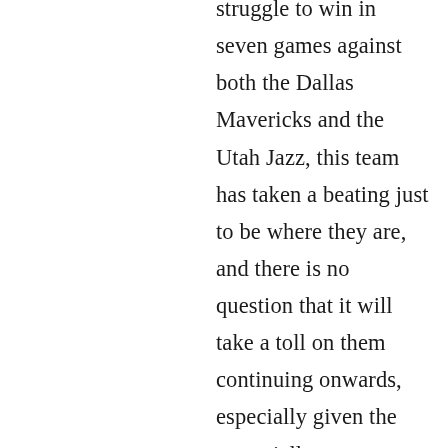struggle to win in seven games against both the Dallas Mavericks and the Utah Jazz, this team has taken a beating just to be where they are, and there is no question that it will take a toll on them continuing onwards, especially given the potentially season-ending injury to their best player Kawhi Leonard. Immense pressure and hopes now rely on the shoulders of Paul George, who needs to regain the All-Star performances of his Pacers past to continue in these wild playoffs.